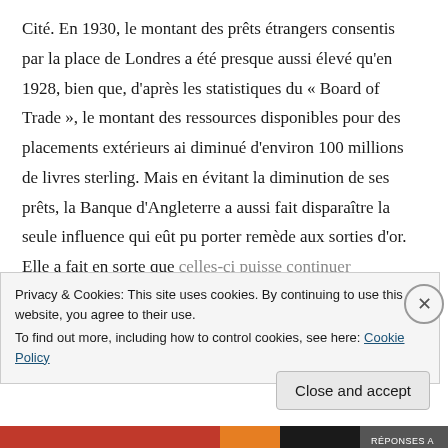Cité. En 1930, le montant des prêts étrangers consentis par la place de Londres a été presque aussi élevé qu'en 1928, bien que, d'après les statistiques du « Board of Trade », le montant des ressources disponibles pour des placements extérieurs ai diminué d'environ 100 millions de livres sterling. Mais en évitant la diminution de ses prêts, la Banque d'Angleterre a aussi fait disparaître la seule influence qui eût pu porter remède aux sorties d'or. Elle a fait en sorte que celles-ci puisse continuer indéfiniment et a ainsi
Privacy & Cookies: This site uses cookies. By continuing to use this website, you agree to their use.
To find out more, including how to control cookies, see here: Cookie Policy
Close and accept